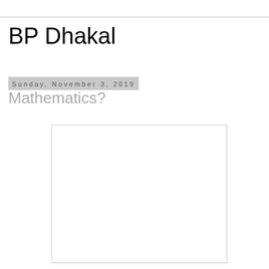BP Dhakal
Sunday, November 3, 2019
Mathematics?
[Figure (other): Empty white rectangle with light gray border, possibly a placeholder image or blank content area.]